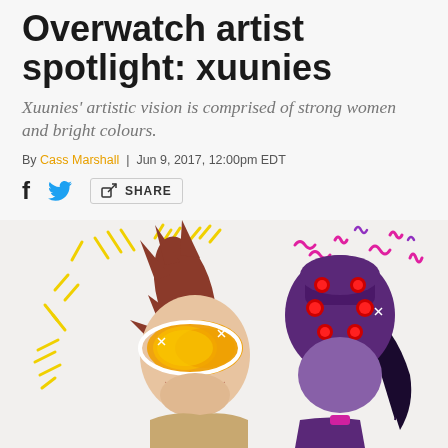Overwatch artist spotlight: xuunies
Xuunies' artistic vision is comprised of strong women and bright colours.
By Cass Marshall | Jun 9, 2017, 12:00pm EDT
[Figure (illustration): Fan art illustration of two Overwatch characters: Tracer (left) with brown spiky hair and orange visor goggles, grinning, and Widowmaker (right) in purple with a purple spider-themed helmet with red eyes and dark hair in a ponytail. Colorful motion lines in yellow, pink, and purple surround them.]